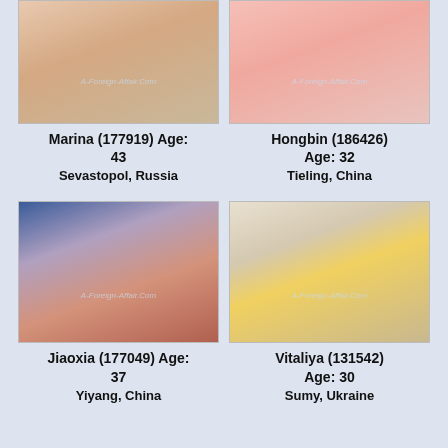[Figure (photo): Photo of Marina, woman with blonde hair wearing white bikini top, watermark A-Foreign-Affair.Com]
[Figure (photo): Photo of Hongbin, woman wearing pink top, watermark A-Foreign-Affair.Com]
Marina (177919) Age: 43
Sevastopol, Russia
Hongbin (186426) Age: 32
Tieling, China
[Figure (photo): Photo of Jiaoxia, Asian woman in colorful outfit in front of American flag, watermark A-Foreign-Affair.Com]
[Figure (photo): Photo of Vitaliya, young blonde woman in yellow dress sitting on chair, watermark A-Foreign-Affair.Com]
Jiaoxia (177049) Age: 37
Yiyang, China
Vitaliya (131542) Age: 30
Sumy, Ukraine